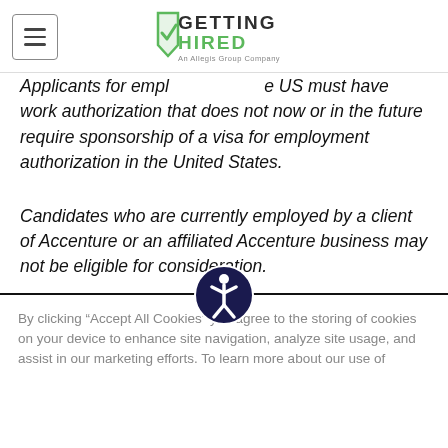Getting Hired - An Allegis Group Company
Applicants for employment in the US must have work authorization that does not now or in the future require sponsorship of a visa for employment authorization in the United States.
Candidates who are currently employed by a client of Accenture or an affiliated Accenture business may not be eligible for consideration.
Job candidates will not be obligated to disclose sealed or expunged records of conviction or arrest as part of the hiring process.
By clicking “Accept All Cookies” you agree to the storing of cookies on your device to enhance site navigation, analyze site usage, and assist in our marketing efforts. To learn more about our use of